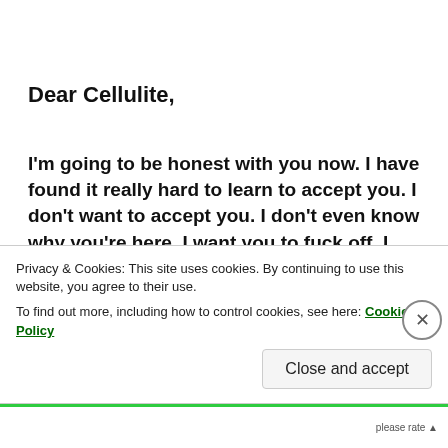Dear Cellulite,
I'm going to be honest with you now. I have found it really hard to learn to accept you. I don't want to accept you. I don't even know why you're here. I want you to fuck off. I really, really don't want you. I really don't know what you do in the world accept make me feel like shit. I want to accept you. But I don't know what you do. What do you actually do?! You're like an appendix. You're just in the way. You're in my way. I could be perfect if it wasn't for you.
Privacy & Cookies: This site uses cookies. By continuing to use this website, you agree to their use.
To find out more, including how to control cookies, see here: Cookie Policy
Close and accept